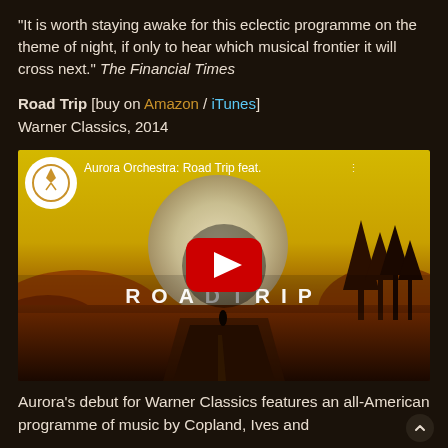“It is worth staying awake for this eclectic programme on the theme of night, if only to hear which musical frontier it will cross next.” The Financial Times
Road Trip [buy on Amazon / iTunes]
Warner Classics, 2014
[Figure (screenshot): YouTube video thumbnail for Aurora Orchestra: Road Trip. Shows an illustrated landscape with orange/red desert scenery, large sun, silhouetted trees, and a winding road. Red YouTube play button in center. Aurora Orchestra logo in top-left circle. Text overlaid: 'Aurora Orchestra: Road Trip feat.' and 'ROADTRIP' in large spaced letters.]
Aurora’s debut for Warner Classics features an all-American programme of music by Copland, Ives and